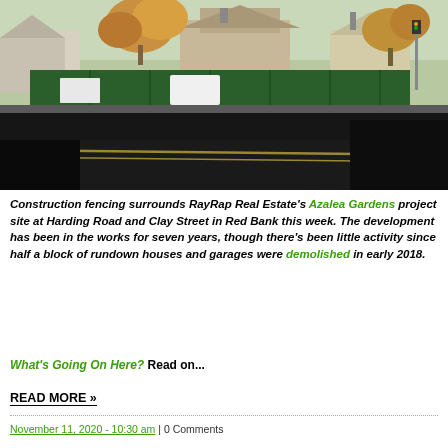[Figure (photo): Construction fencing surrounds a development project site at Harding Road and Clay Street in Red Bank. A dark road is in the foreground, a green construction fence lines the middle, and houses with autumn trees are visible in the background.]
Construction fencing surrounds RayRap Real Estate's Azalea Gardens project site at Harding Road and Clay Street in Red Bank this week. The development has been in the works for seven years, though there's been little activity since half a block of rundown houses and garages were demolished in early 2018.
What's Going On Here? Read on...
READ MORE »
November 11, 2020 - 10:30 am | 0 Comments